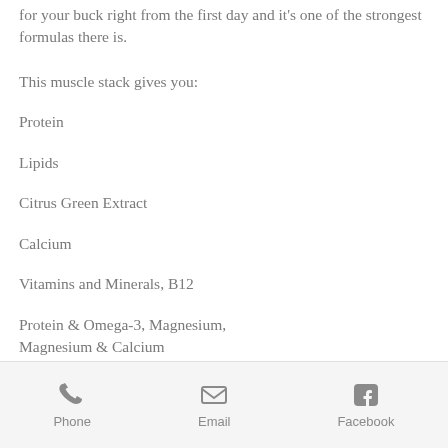for your buck right from the first day and it's one of the strongest formulas there is.
This muscle stack gives you:
Protein
Lipids
Citrus Green Extract
Calcium
Vitamins and Minerals, B12
Protein & Omega-3, Magnesium, Magnesium & Calcium
Protein & Omega-6, Omega-6 & Calcium
Phone   Email   Facebook